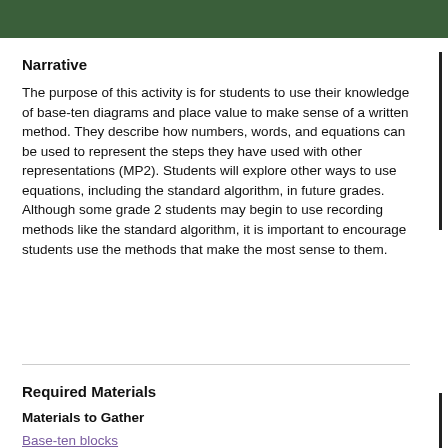Narrative
The purpose of this activity is for students to use their knowledge of base-ten diagrams and place value to make sense of a written method. They describe how numbers, words, and equations can be used to represent the steps they have used with other representations (MP2). Students will explore other ways to use equations, including the standard algorithm, in future grades. Although some grade 2 students may begin to use recording methods like the standard algorithm, it is important to encourage students use the methods that make the most sense to them.
Required Materials
Materials to Gather
Base-ten blocks